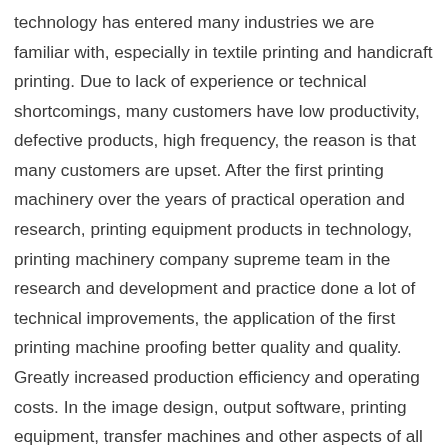technology has entered many industries we are familiar with, especially in textile printing and handicraft printing. Due to lack of experience or technical shortcomings, many customers have low productivity, defective products, high frequency, the reason is that many customers are upset. After the first printing machinery over the years of practical operation and research, printing equipment products in technology, printing machinery company supreme team in the research and development and practice done a lot of technical improvements, the application of the first printing machine proofing better quality and quality. Greatly increased production efficiency and operating costs. In the image design, output software, printing equipment, transfer machines and other aspects of all we have to plan ahead, so as to be able to do things without fear. Below we will be one by one on each link to be introduced.